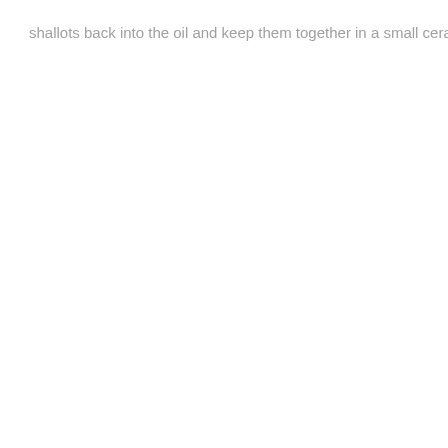shallots back into the oil and keep them together in a small ceramic container (n